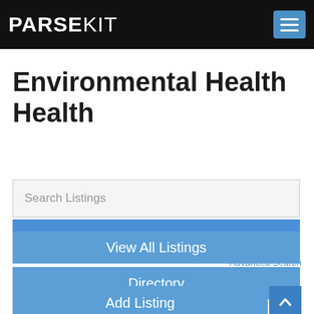PARSEKIT
Environmental Health Health
Search Listings
Find Listings
Advanced Search
Directory
View All Listings
Add Listing